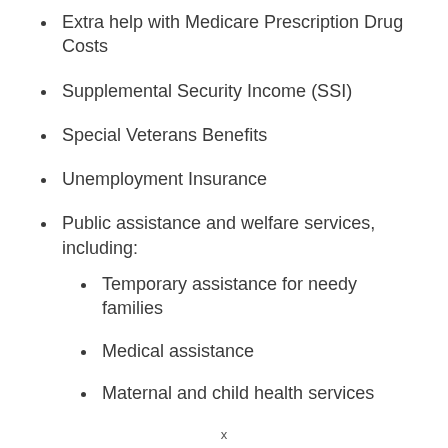Extra help with Medicare Prescription Drug Costs
Supplemental Security Income (SSI)
Special Veterans Benefits
Unemployment Insurance
Public assistance and welfare services, including:
Temporary assistance for needy families
Medical assistance
Maternal and child health services
x